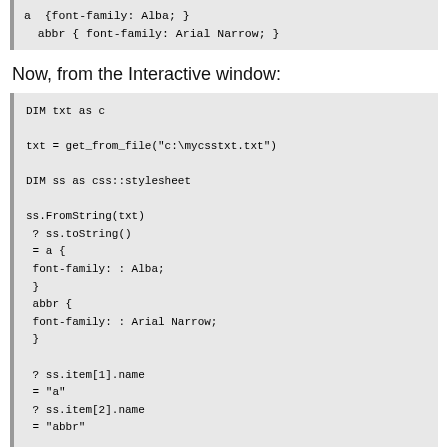a  {font-family: Alba; }
  abbr { font-family: Arial Narrow; }
Now, from the Interactive window:
DIM txt as c

txt = get_from_file("c:\mycsstxt.txt")

DIM ss as css::stylesheet

ss.FromString(txt)
 ? ss.toString()
 = a {
 font-family: : Alba;
 }
 abbr {
 font-family: : Arial Narrow;
 }

 ? ss.item[1].name
 = "a"
 ? ss.item[2].name
 = "abbr"